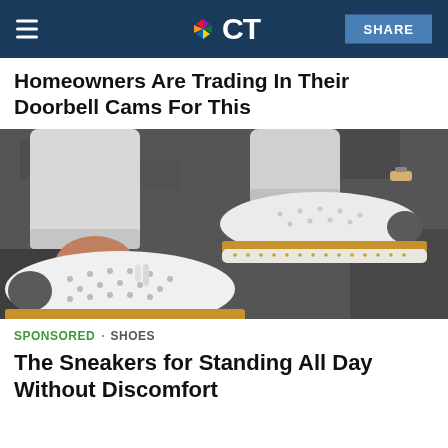NBC CT
Homeowners Are Trading In Their Doorbell Cams For This
[Figure (photo): Close-up photo of a woman's feet wearing white perforated sneakers with tan/cork soles, paired with white jeans, standing on a dark pavement surface.]
SPONSORED · SHOES
The Sneakers for Standing All Day Without Discomfort